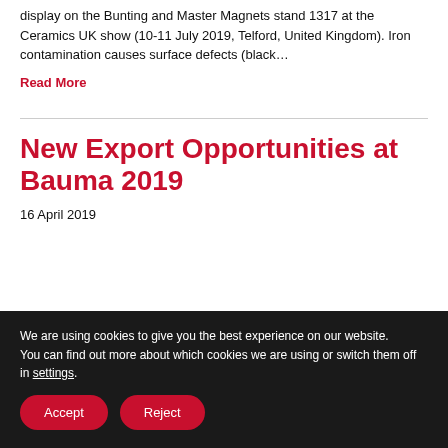display on the Bunting and Master Magnets stand 1317 at the Ceramics UK show (10-11 July 2019, Telford, United Kingdom). Iron contamination causes surface defects (black…
Read More
New Export Opportunities at Bauma 2019
16 April 2019
We are using cookies to give you the best experience on our website. You can find out more about which cookies we are using or switch them off in settings.